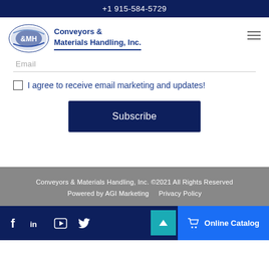+1 915-584-5729
[Figure (logo): C&MH Conveyors & Materials Handling, Inc. company logo with elliptical blue graphic and company name]
Email
I agree to receive email marketing and updates!
Subscribe
Conveyors & Materials Handling, Inc. © 2021 All Rights Reserved
Powered by AGI Marketing    Privacy Policy
Online Catalog